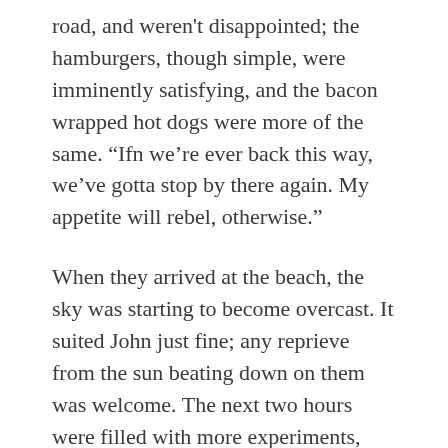road, and weren't disappointed; the hamburgers, though simple, were imminently satisfying, and the bacon wrapped hot dogs were more of the same. “Ifn we’re ever back this way, we’ve gotta stop by there again. My appetite will rebel, otherwise.”
When they arrived at the beach, the sky was starting to become overcast. It suited John just fine; any reprieve from the sun beating down on them was welcome. The next two hours were filled with more experiments, and more failures. John attempted to carry Sera by pulling her close to his chest when they were face to face. This only ended up sending them crashing into the ocean, as the air was caught in her wings; she couldn’t pull them in close enough since he was hugging her, essentially,